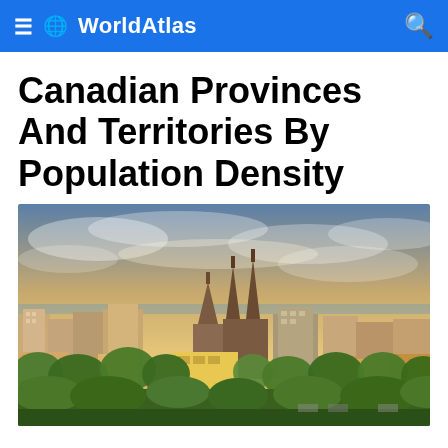WorldAtlas
Canadian Provinces And Territories By Population Density
[Figure (photo): Aerial cityscape panorama showing a Canadian city at sunset with church spires, commercial buildings, and tree-lined streets under a dramatic cloudy sky.]